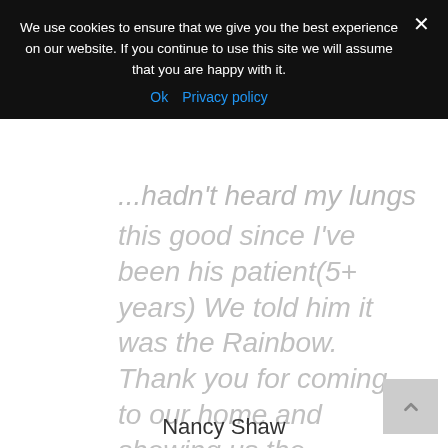We use cookies to ensure that we give you the best experience on our website. If you continue to use this site we will assume that you are happy with it.
Ok   Privacy policy
...hadn't heard my lungs this good since I've been his patient(5+ years) We told him it was the Rainbow. Thank you for coming to our home and showing us the machine.
Nancy Shaw